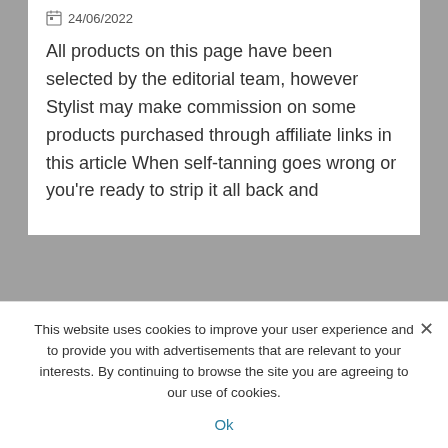24/06/2022
All products on this page have been selected by the editorial team, however Stylist may make commission on some products purchased through affiliate links in this article When self-tanning goes wrong or you’re ready to strip it all back and
I’m a landscaping whizz
This website uses cookies to improve your user experience and to provide you with advertisements that are relevant to your interests. By continuing to browse the site you are agreeing to our use of cookies.
Ok